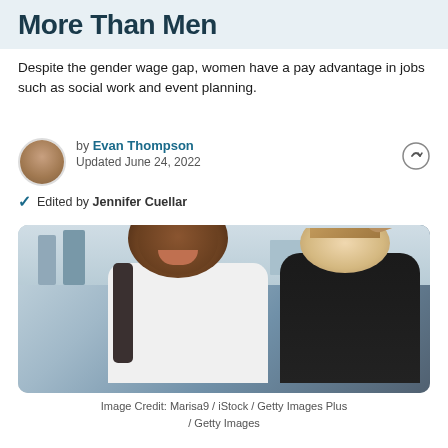More Than Men
Despite the gender wage gap, women have a pay advantage in jobs such as social work and event planning.
by Evan Thompson
Updated June 24, 2022
Edited by Jennifer Cuellar
[Figure (photo): Two women in an office setting, one with curly dark hair smiling, seen from the front, and one with light hair in a bun seen from behind/side, appearing to have a conversation.]
Image Credit: Marisa9 / iStock / Getty Images Plus / Getty Images